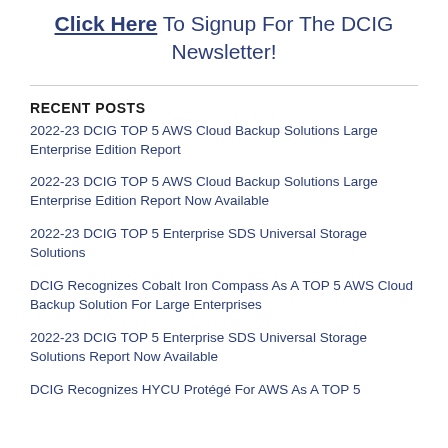Click Here To Signup For The DCIG Newsletter!
RECENT POSTS
2022-23 DCIG TOP 5 AWS Cloud Backup Solutions Large Enterprise Edition Report
2022-23 DCIG TOP 5 AWS Cloud Backup Solutions Large Enterprise Edition Report Now Available
2022-23 DCIG TOP 5 Enterprise SDS Universal Storage Solutions
DCIG Recognizes Cobalt Iron Compass As A TOP 5 AWS Cloud Backup Solution For Large Enterprises
2022-23 DCIG TOP 5 Enterprise SDS Universal Storage Solutions Report Now Available
DCIG Recognizes HYCU Protégé For AWS As A TOP 5